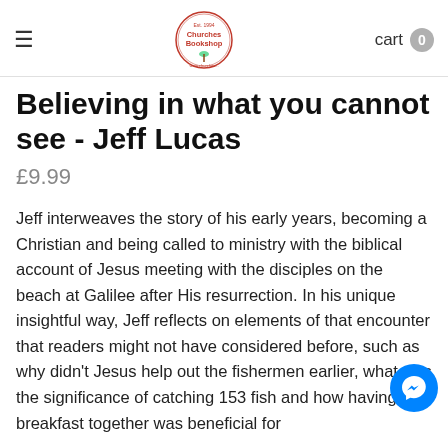Churches Bookshop | cart 0
Believing in what you cannot see - Jeff Lucas
£9.99
Jeff interweaves the story of his early years, becoming a Christian and being called to ministry with the biblical account of Jesus meeting with the disciples on the beach at Galilee after His resurrection. In his unique insightful way, Jeff reflects on elements of that encounter that readers might not have considered before, such as why didn't Jesus help out the fishermen earlier, what was the significance of catching 153 fish and how having breakfast together was beneficial for